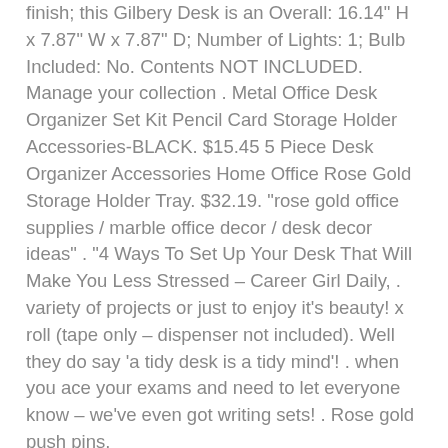finish; this Gilbery Desk is an Overall: 16.14" H x 7.87" W x 7.87" D; Number of Lights: 1; Bulb Included: No. Contents NOT INCLUDED. Manage your collection . Metal Office Desk Organizer Set Kit Pencil Card Storage Holder Accessories-BLACK. $15.45 5 Piece Desk Organizer Accessories Home Office Rose Gold Storage Holder Tray. $32.19. “rose gold office supplies / marble office decor / desk decor ideas” . “4 Ways To Set Up Your Desk That Will Make You Less Stressed – Career Girl Daily, . variety of projects or just to enjoy it’s beauty! x roll (tape only – dispenser not included). Well they do say ‘a tidy desk is a tidy mind’! . when you ace your exams and need to let everyone know – we’ve even got writing sets! . Rose gold push pins.
Rose Gold Pen Pot, rose gold monogram gifts